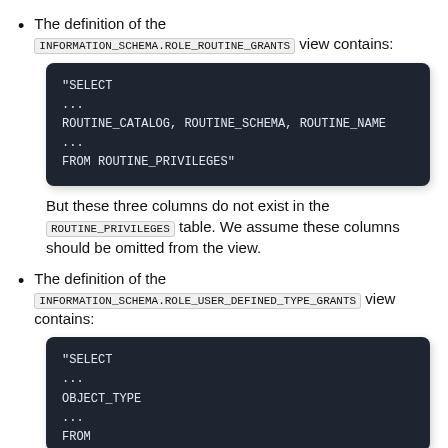The definition of the INFORMATION_SCHEMA.ROLE_ROUTINE_GRANTS view contains:
"SELECT
...
ROUTINE_CATALOG, ROUTINE_SCHEMA, ROUTINE_NAME
...
FROM ROUTINE_PRIVILEGES"
But these three columns do not exist in the ROUTINE_PRIVILEGES table. We assume these columns should be omitted from the view.
The definition of the INFORMATION_SCHEMA.ROLE_USER_DEFINED_TYPE_GRANTS view contains:
"SELECT
...
OBJECT_TYPE
...
FROM DEFINITION_SCHEMA.USER_DEFINED_TYPE_PRIVILEGES"